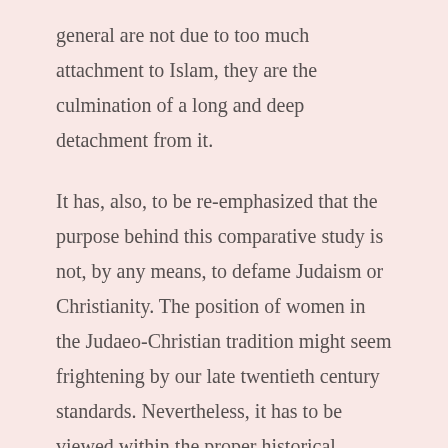general are not due to too much attachment to Islam, they are the culmination of a long and deep detachment from it.
It has, also, to be re-emphasized that the purpose behind this comparative study is not, by any means, to defame Judaism or Christianity. The position of women in the Judaeo-Christian tradition might seem frightening by our late twentieth century standards. Nevertheless, it has to be viewed within the proper historical context. In other words, any objective assessment of the position of women in the Judaeo-Christian tradition has to take into account the historical circumstances in which this tradition has evolved.